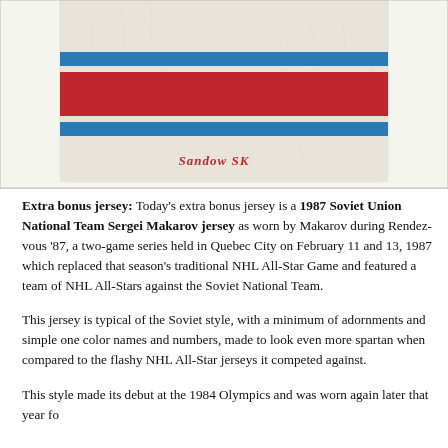[Figure (photo): Bottom portion of a white Soviet Union National Team hockey jersey with horizontal red and blue stripes near the hem, and 'Sandow SK' text on the lower front. The jersey is laid flat showing a crumpled/worn appearance.]
Extra bonus jersey: Today's extra bonus jersey is a 1987 Soviet Union National Team Sergei Makarov jersey as worn by Makarov during Rendez-vous '87, a two-game series held in Quebec City on February 11 and 13, 1987 which replaced that season's traditional NHL All-Star Game and featured a team of NHL All-Stars against the Soviet National Team.
This jersey is typical of the Soviet style, with a minimum of adornments and simple one color names and numbers, made to look even more spartan when compared to the flashy NHL All-Star jerseys it competed against.
This style made its debut at the 1984 Olympics and was worn again later that year for